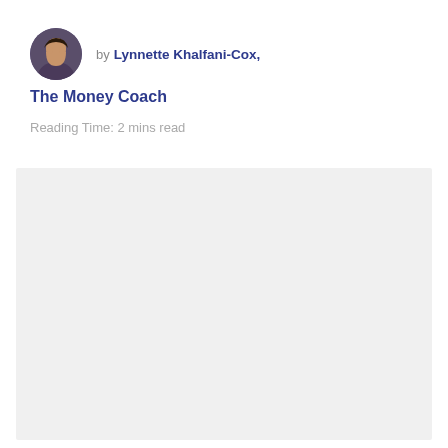by Lynnette Khalfani-Cox,
The Money Coach
Reading Time: 2 mins read
[Figure (photo): Gray placeholder image area]